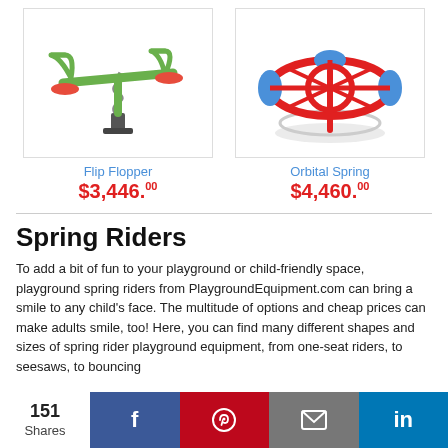[Figure (photo): Flip Flopper spring seesaw playground equipment in green with red seats]
Flip Flopper
$3,446.00
[Figure (photo): Orbital Spring merry-go-round playground equipment in red and blue]
Orbital Spring
$4,460.00
Spring Riders
To add a bit of fun to your playground or child-friendly space, playground spring riders from PlaygroundEquipment.com can bring a smile to any child's face. The multitude of options and cheap prices can make adults smile, too! Here, you can find many different shapes and sizes of spring rider playground equipment, from one-seat riders, to seesaws, to bouncing
151 Shares  f  Pinterest  Email  in